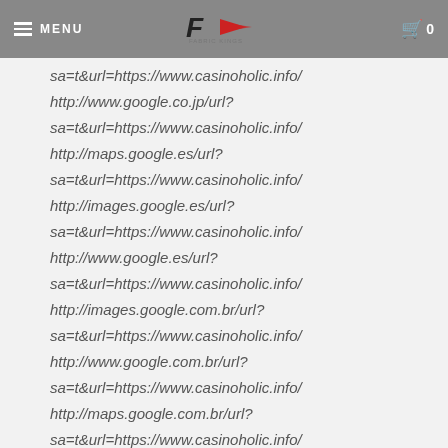MENU | [logo] | 0
sa=t&url=https://www.casinoholic.info/
http://images.gk.___.com/?
sa=t&url=https://www.casinoholic.info/
http://www.google.co.jp/url?
sa=t&url=https://www.casinoholic.info/
http://maps.google.es/url?
sa=t&url=https://www.casinoholic.info/
http://images.google.es/url?
sa=t&url=https://www.casinoholic.info/
http://www.google.es/url?
sa=t&url=https://www.casinoholic.info/
http://images.google.com.br/url?
sa=t&url=https://www.casinoholic.info/
http://www.google.com.br/url?
sa=t&url=https://www.casinoholic.info/
http://maps.google.com.br/url?
sa=t&url=https://www.casinoholic.info/